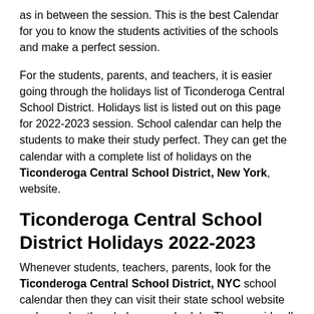as in between the session. This is the best Calendar for you to know the students activities of the schools and make a perfect session.
For the students, parents, and teachers, it is easier going through the holidays list of Ticonderoga Central School District. Holidays list is listed out on this page for 2022-2023 session. School calendar can help the students to make their study perfect. They can get the calendar with a complete list of holidays on the Ticonderoga Central School District, New York, website.
Ticonderoga Central School District Holidays 2022-2023
Whenever students, teachers, parents, look for the Ticonderoga Central School District, NYC school calendar then they can visit their state school website and can plan the whole year schedule. They provide all the notifications about school and holidays appointments at any given and